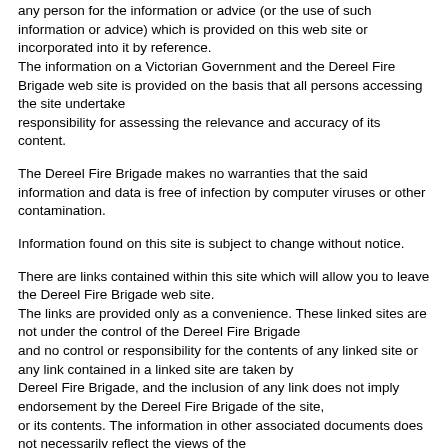any person for the information or advice (or the use of such information or advice) which is provided on this web site or incorporated into it by reference.
The information on a Victorian Government and the Dereel Fire Brigade web site is provided on the basis that all persons accessing the site undertake
responsibility for assessing the relevance and accuracy of its content.
The Dereel Fire Brigade makes no warranties that the said information and data is free of infection by computer viruses or other contamination.
Information found on this site is subject to change without notice.
There are links contained within this site which will allow you to leave the Dereel Fire Brigade web site.
The links are provided only as a convenience. These linked sites are not under the control of the Dereel Fire Brigade
and no control or responsibility for the contents of any linked site or any link contained in a linked site are taken by
Dereel Fire Brigade, and the inclusion of any link does not imply endorsement by the Dereel Fire Brigade of the site,
or its contents. The information in other associated documents does not necessarily reflect the views of the
Dereel Fire Brigade.